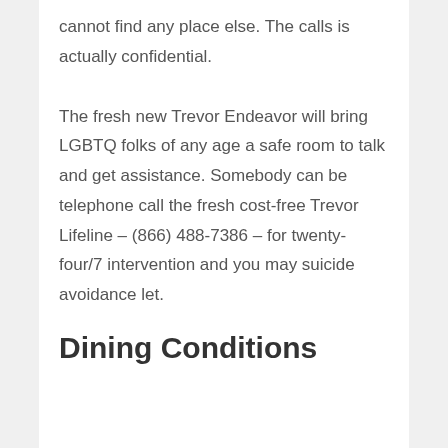cannot find any place else. The calls is actually confidential.
The fresh new Trevor Endeavor will bring LGBTQ folks of any age a safe room to talk and get assistance. Somebody can be telephone call the fresh cost-free Trevor Lifeline – (866) 488-7386 – for twenty-four/7 intervention and you may suicide avoidance let.
Dining Conditions